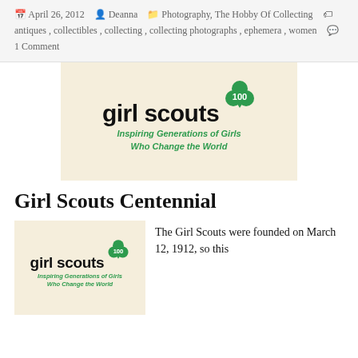April 26, 2012  Deanna  Photography, The Hobby Of Collecting  antiques, collectibles, collecting, collecting photographs, ephemera, women  1 Comment
[Figure (logo): Girl Scouts 100th anniversary logo: green trefoil badge with '100', 'girl scouts' wordmark in bold black, italic green tagline 'Inspiring Generations of Girls Who Change the World' on cream/beige background]
Girl Scouts Centennial
[Figure (logo): Smaller Girl Scouts 100th anniversary logo on cream/beige background, same design as above]
The Girl Scouts were founded on March 12, 1912, so this